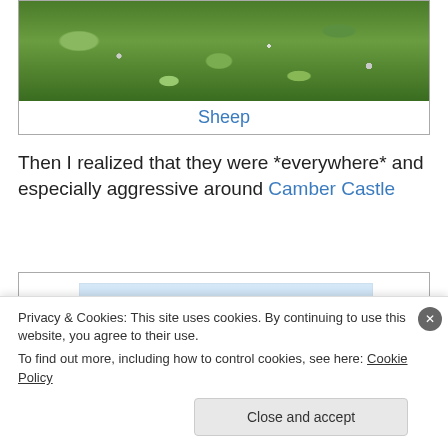[Figure (photo): Photograph of grass with some rocks or pebbles, forming the top portion of the image box]
Sheep
Then I realized that they were *everywhere* and especially aggressive around Camber Castle
[Figure (photo): Photograph mostly showing sky, pale blue gradient, partially visible]
Privacy & Cookies: This site uses cookies. By continuing to use this website, you agree to their use.
To find out more, including how to control cookies, see here: Cookie Policy
Close and accept